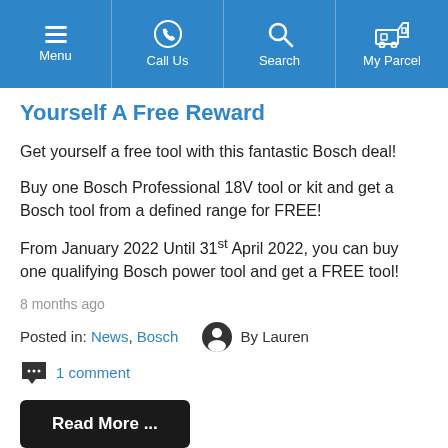Menu | Call Us | Search | My Parcel
Yourself A Free Reward
Get yourself a free tool with this fantastic Bosch deal!
Buy one Bosch Professional 18V tool or kit and get a Bosch tool from a defined range for FREE!
From January 2022 Until 31st April 2022, you can buy one qualifying Bosch power tool and get a FREE tool!
8 months ago
Posted in: News, Bosch   By Lauren
1 comment
Read More ...